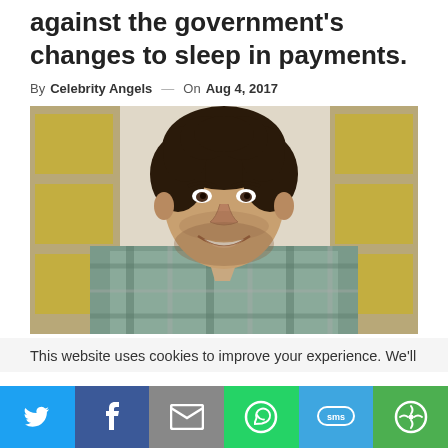against the government's changes to sleep in payments.
By Celebrity Angels — On Aug 4, 2017
[Figure (photo): Young man with curly dark hair and beard, smiling, wearing an open plaid shirt, photographed at what appears to be a comic convention (Comic-Con backdrop visible).]
This website uses cookies to improve your experience. We'll
[Figure (infographic): Social sharing bar with five buttons: Twitter (blue), Facebook (dark blue), Email (grey), WhatsApp (green), SMS (green), More (green)]